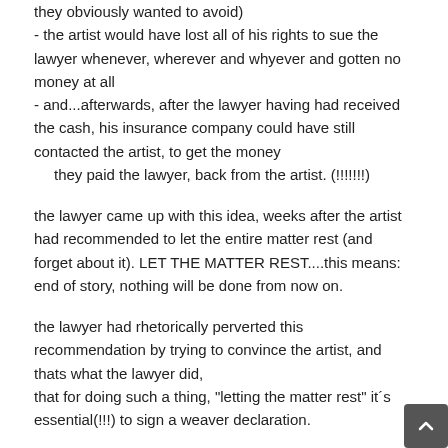they obviously wanted to avoid)
- the artist would have lost all of his rights to sue the lawyer whenever, wherever and whyever and gotten no money at all
- and...afterwards, after the lawyer having had received the cash, his insurance company could have still contacted the artist, to get the money
they paid the lawyer, back from the artist. (!!!!!!!)
the lawyer came up with this idea, weeks after the artist had recommended to let the entire matter rest (and forget about it). LET THE MATTER REST....this means: end of story, nothing will be done from now on.
the lawyer had rhetorically perverted this recommendation by trying to convince the artist, and thats what the lawyer did, that for doing such a thing, "letting the matter rest" it´s essential(!!!) to sign a weaver declaration.
and the lawyer set one up, with the conditions described above.
i don´t know how you call such behaviour and action, to me it is being best described as